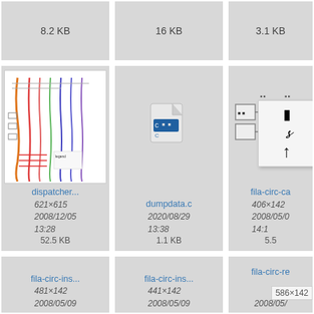8.2 KB
16 KB
3.1 KB
[Figure (engineering-diagram): dispatcher diagram with colorful vertical lines]
dispatcher...
621×615
2008/12/05
13:28
52.5 KB
[Figure (screenshot): dumpdata.c file icon]
dumpdata.c
2020/08/29
13:38
1.1 KB
[Figure (engineering-diagram): fila-circ-ca partial diagram with boxes]
fila-circ-ca
406×142
2008/05/0
14:1
5.5
[Figure (engineering-diagram): fila-circ-ins empty thumbnail]
fila-circ-ins...
481×142
2008/05/09
[Figure (engineering-diagram): fila-circ-ins second empty thumbnail]
fila-circ-ins...
441×142
2008/05/09
[Figure (engineering-diagram): fila-circ-re partial thumbnail with tooltip]
fila-circ-re
586×142
2008/05/